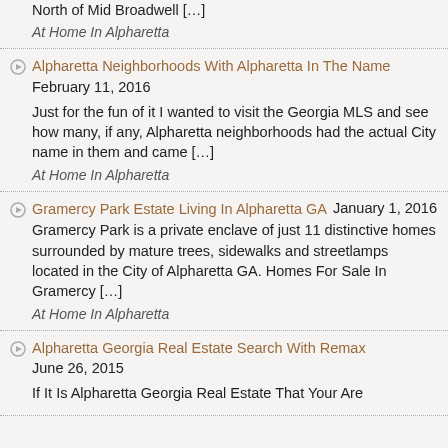North of Mid Broadwell […]
At Home In Alpharetta
Alpharetta Neighborhoods With Alpharetta In The Name
February 11, 2016
Just for the fun of it I wanted to visit the Georgia MLS and see how many, if any, Alpharetta neighborhoods had the actual City name in them and came […]
At Home In Alpharetta
Gramercy Park Estate Living In Alpharetta GA January 1, 2016
Gramercy Park is a private enclave of just 11 distinctive homes surrounded by mature trees, sidewalks and streetlamps located in the City of Alpharetta GA. Homes For Sale In Gramercy […]
At Home In Alpharetta
Alpharetta Georgia Real Estate Search With Remax
June 26, 2015
If It Is Alpharetta Georgia Real Estate That Your Are